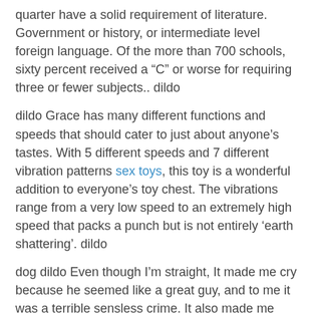quarter have a solid requirement of literature. Government or history, or intermediate level foreign language. Of the more than 700 schools, sixty percent received a “C” or worse for requiring three or fewer subjects.. dildo
dildo Grace has many different functions and speeds that should cater to just about anyone’s tastes. With 5 different speeds and 7 different vibration patterns sex toys, this toy is a wonderful addition to everyone’s toy chest. The vibrations range from a very low speed to an extremely high speed that packs a punch but is not entirely ‘earth shattering’. dildo
dog dildo Even though I’m straight, It made me cry because he seemed like a great guy, and to me it was a terrible sensless crime. It also made me realize what it would it would feel like to be gay, and what any person in a minority group has to go through. It’s still unbelievable that in this day and age people are biased, ridiculed, and murdered just because of who they are. dog dildo
dog dildo So that’s what we’re going to emphasize,” he said. More than half of all young voters in May. I never told...